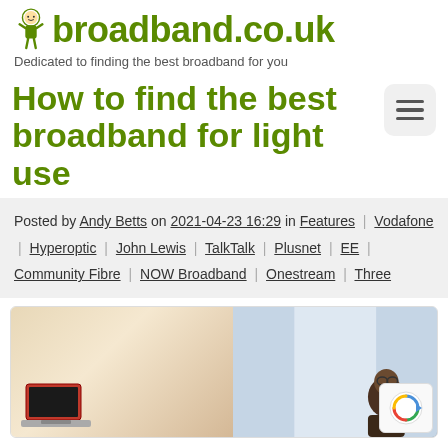[Figure (logo): broadband.co.uk logo with cartoon mascot figure and green bold text]
Dedicated to finding the best broadband for you
How to find the best broadband for light use
Posted by Andy Betts on 2021-04-23 16:29 in Features | Vodafone | Hyperoptic | John Lewis | TalkTalk | Plusnet | EE | Community Fibre | NOW Broadband | Onestream | Three
[Figure (photo): Photo showing person using laptop at desk near window]